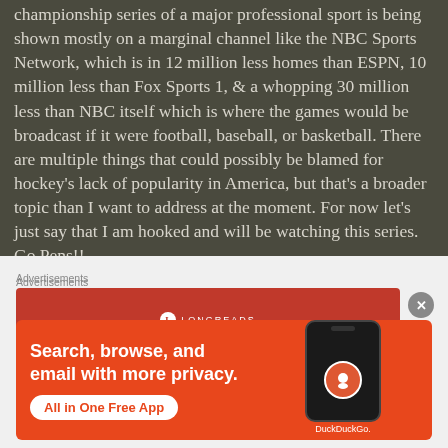championship series of a major professional sport is being shown mostly on a marginal channel like the NBC Sports Network, which is in 12 million less homes than ESPN, 10 million less than Fox Sports 1, & a whopping 30 million less than NBC itself which is where the games would be broadcast if it were football, baseball, or basketball. There are multiple things that could possibly be blamed for hockey's lack of popularity in America, but that's a broader topic than I want to address at the moment. For now let's just say that I am hooked and will be watching this series. Go Pens!!
Advertisements
[Figure (screenshot): Longreads advertisement banner — red background with Longreads logo and tagline 'The best stories on the web — ours, and everyone else's']
Advertisements
[Figure (screenshot): DuckDuckGo advertisement — orange-red background with text 'Search, browse, and email with more privacy. All in One Free App' and a phone mockup showing DuckDuckGo app icon]